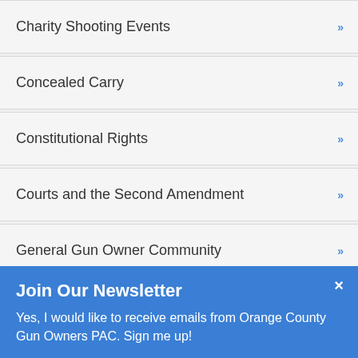Charity Shooting Events
Concealed Carry
Constitutional Rights
Courts and the Second Amendment
General Gun Owner Community
Gun Free Zones
Guns & Equipment
Join Our Newsletter
Yes, I would like to receive emails from Orange County Gun Owners PAC. Sign me up!